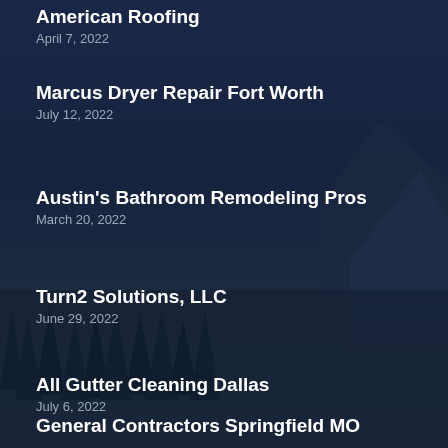American Roofing
April 7, 2022
Marcus Dryer Repair Fort Worth
July 12, 2022
Austin's Bathroom Remodeling Pros
March 20, 2022
Turn2 Solutions, LLC
June 29, 2022
All Gutter Cleaning Dallas
July 6, 2022
General Contractors Springfield MO